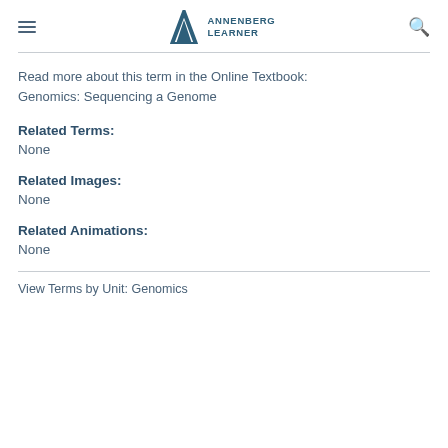ANNENBERG LEARNER
Read more about this term in the Online Textbook:
Genomics: Sequencing a Genome
Related Terms:
None
Related Images:
None
Related Animations:
None
View Terms by Unit: Genomics